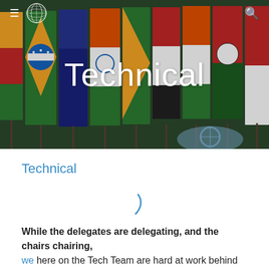[Figure (photo): A header banner photo showing a row of colorful national flags at a UN-style conference setting, with the UN emblem visible at the bottom right. The word 'Technical' is overlaid in large white text at the center.]
Technical
While the delegates are delegating, and the chairs chairing, we here on the Tech Team are hard at work behind the